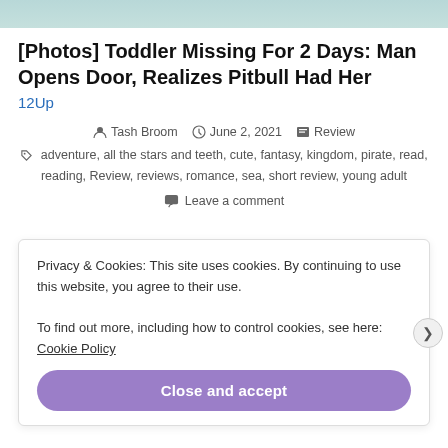[Figure (photo): Partial top image visible at the top of the page, showing a light teal/green background with a partial image of what appears to be a person or baby]
[Photos] Toddler Missing For 2 Days: Man Opens Door, Realizes Pitbull Had Her
12Up
Tash Broom   June 2, 2021   Review
adventure, all the stars and teeth, cute, fantasy, kingdom, pirate, read, reading, Review, reviews, romance, sea, short review, young adult
Leave a comment
Privacy & Cookies: This site uses cookies. By continuing to use this website, you agree to their use.
To find out more, including how to control cookies, see here: Cookie Policy
Close and accept